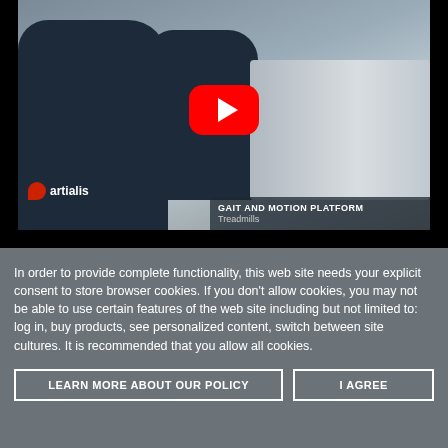[Figure (screenshot): YouTube video thumbnail showing two people in blue lab coats and masks working with medical/gait equipment (treadmill). Artialis logo bottom-left. Caption bar reads 'GAIT AND MOTION PLATFORM / Treadmills'. YouTube red play button centered.]
In order to provide complete functionality, this web site needs your explicit consent to store browser cookies. If you don't allow cookies, you may not be able to use certain features of the web site including but not limited to: log in, buy products, see personalized content, switch between site cultures. It is recommended that you allow all cookies.
LEARN MORE ABOUT OUR POLICY
I AGREE